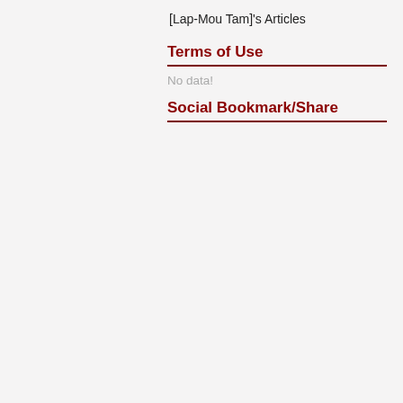[Lap-Mou Tam]'s Articles
Terms of Use
No data!
Social Bookmark/Share